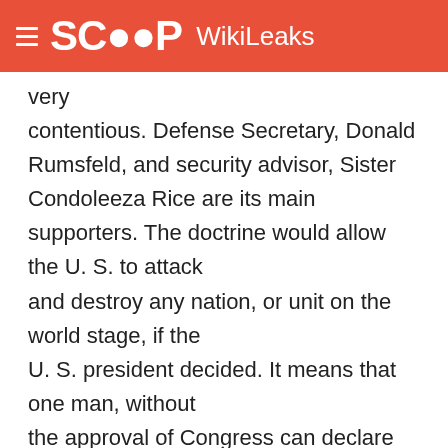SCOOP WikiLeaks
very contentious. Defense Secretary, Donald Rumsfeld, and security advisor, Sister Condoleeza Rice are its main supporters. The doctrine would allow the U. S. to attack and destroy any nation, or unit on the world stage, if the U. S. president decided. It means that one man, without the approval of Congress can declare war on any country he regards as harboring terrorists. A memo, which was traced to communications between an Israeli think tank and